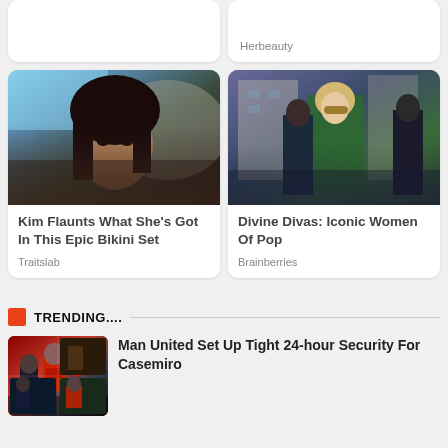Herbeauty
[Figure (photo): Close-up photo of a dark-haired woman (Kim Kardashian) outdoors]
Kim Flaunts What She's Got In This Epic Bikini Set
Traitslab
[Figure (photo): Photo of an older blonde woman in a green dress surrounded by bodyguards on a city street]
Divine Divas: Iconic Women Of Pop
Brainberries
TRENDING....
[Figure (photo): Sports photo collage of soccer players including Casemiro in a red Manchester United jersey]
Man United Set Up Tight 24-hour Security For Casemiro